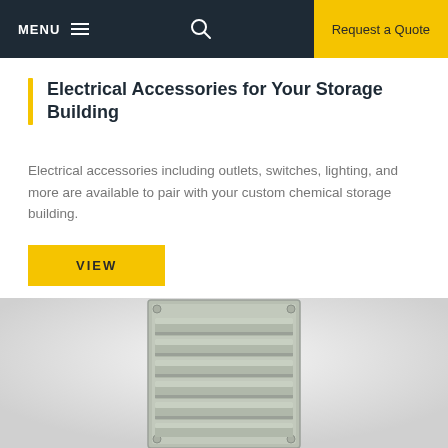MENU  [hamburger]  [search]  Request a Quote
Electrical Accessories for Your Storage Building
Electrical accessories including outlets, switches, lighting, and more are available to pair with your custom chemical storage building.
VIEW
[Figure (photo): A gray metal louvered vent panel for a storage building, shown against a white/light gray background.]